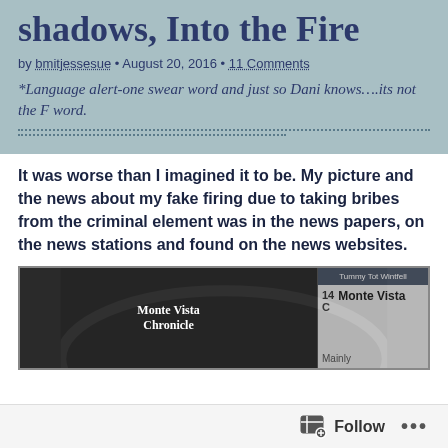shadows, Into the Fire
by bmitjessesue • August 20, 2016 • 11 Comments
*Language alert-one swear word and just so Dani knows….its not the F word.
It was worse than I  imagined it to be.  My picture and the news about my fake firing due to taking bribes from the criminal element was in the news papers, on the news stations and found on the news websites.
[Figure (screenshot): Screenshot of a news website called Monte Vista Chronicle showing a dark architectural image with arches and a weather widget showing 14 C and Monte Vista headline.]
Follow ...